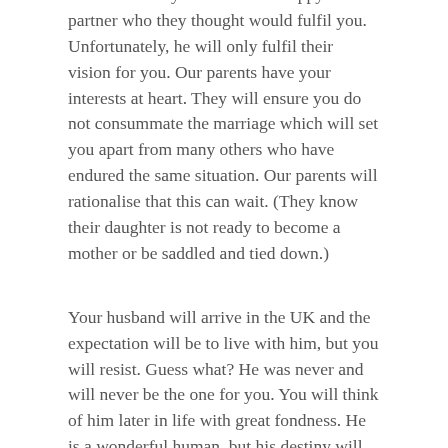a desire to see you settled and happy with a partner who they thought would fulfil you. Unfortunately, he will only fulfil their vision for you. Our parents have your interests at heart. They will ensure you do not consummate the marriage which will set you apart from many others who have endured the same situation. Our parents will rationalise that this can wait. (They know their daughter is not ready to become a mother or be saddled and tied down.)
Your husband will arrive in the UK and the expectation will be to live with him, but you will resist. Guess what? He was never and will never be the one for you. You will think of him later in life with great fondness. He is a wonderful human, but his destiny will be to be with another.
This will turn out to be one of your most enlightened experiences. From this springboard you will learn the core values you will need for your future: determination, patience, resilience, the value of hard work. You will find the gumption to focus on your studies and make it to University far away from...